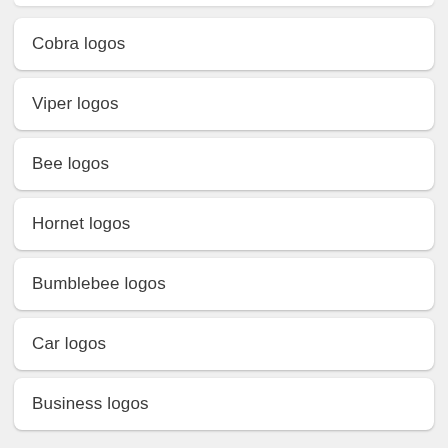Cobra logos
Viper logos
Bee logos
Hornet logos
Bumblebee logos
Car logos
Business logos